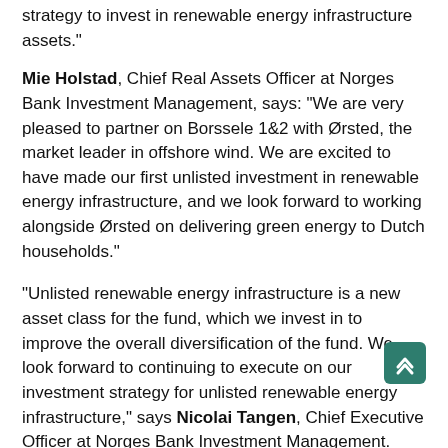strategy to invest in renewable energy infrastructure assets."
Mie Holstad, Chief Real Assets Officer at Norges Bank Investment Management, says: "We are very pleased to partner on Borssele 1&2 with Ørsted, the market leader in offshore wind. We are excited to have made our first unlisted investment in renewable energy infrastructure, and we look forward to working alongside Ørsted on delivering green energy to Dutch households."
"Unlisted renewable energy infrastructure is a new asset class for the fund, which we invest in to improve the overall diversification of the fund. We look forward to continuing to execute on our investment strategy for unlisted renewable energy infrastructure," says Nicolai Tangen, Chief Executive Officer at Norges Bank Investment Management.
Steven Engels, General Manager for Ørsted Benelux, says: "I look forward to working with NBIM on delivering green [energy] to the Dutch energy mix. Borssele 1 & 2 kickstarted the